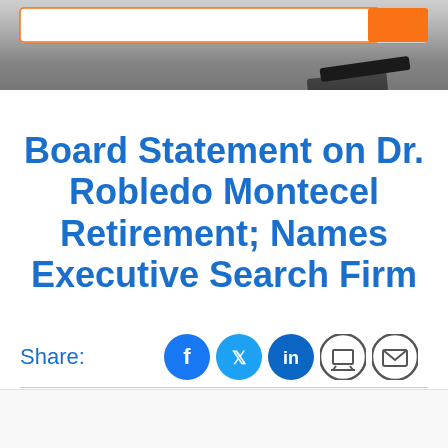[Figure (photo): Gray-scale header image with a white search bar featuring an orange button, and a dark object in the lower right]
Board Statement on Dr. Robledo Montecel Retirement; Names Executive Search Firm
Share:
[Figure (infographic): Social share icons: Facebook, Twitter, LinkedIn, Print, Email]